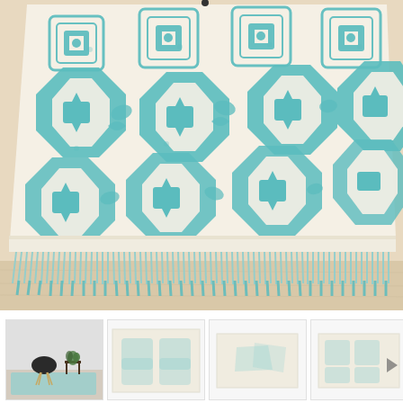[Figure (photo): Close-up photograph of a teal/turquoise patterned area rug with geometric medallion designs on a cream background, showing fringe tassels along the bottom edge, displayed on a light wood floor.]
[Figure (photo): Thumbnail 1: Lifestyle photo showing the teal geometric rug in a room setting with a black Eames-style chair and a side table with plants.]
[Figure (photo): Thumbnail 2: Plain white/light background product photo placeholder.]
[Figure (photo): Thumbnail 3: Plain white/light background product photo placeholder.]
[Figure (photo): Thumbnail 4: Plain white/light background with a small arrow/navigation icon.]